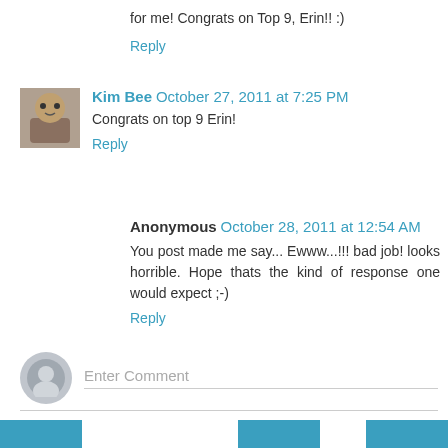for me! Congrats on Top 9, Erin!! :)
Reply
Kim Bee  October 27, 2011 at 7:25 PM
Congrats on top 9 Erin!
Reply
Anonymous  October 28, 2011 at 12:54 AM
You post made me say... Ewww...!!! bad job! looks horrible. Hope thats the kind of response one would expect ;-)
Reply
Enter Comment